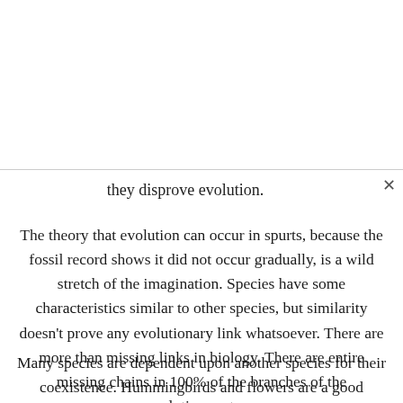they disprove evolution.
The theory that evolution can occur in spurts, because the fossil record shows it did not occur gradually, is a wild stretch of the imagination. Species have some characteristics similar to other species, but similarity doesn't prove any evolutionary link whatsoever. There are more than missing links in biology. There are entire missing chains in 100% of the branches of the evolutionary tree.
Many species are dependent upon another species for their coexistence. Hummingbirds and flowers are a good example. The flower would not be pollinated and would become extinct without the bird. They are said to have coevolved together.